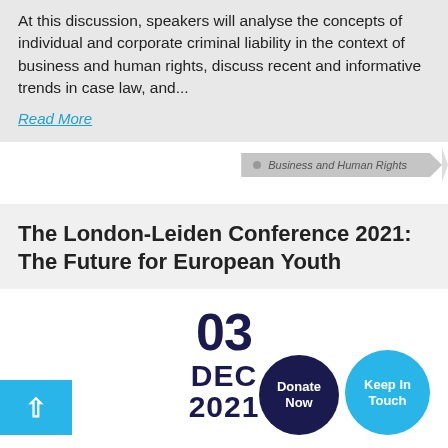At this discussion, speakers will analyse the concepts of individual and corporate criminal liability in the context of business and human rights, discuss recent and informative trends in case law, and...
Read More
Business and Human Rights
The London-Leiden Conference 2021: The Future for European Youth
03 DEC 2021
Donate Now
Keep In Touch